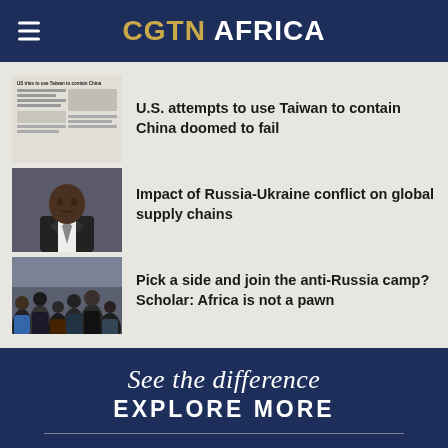CGTN AFRICA
U.S. attempts to use Taiwan to contain China doomed to fail
[Figure (screenshot): Thumbnail of newspaper article about Taiwan]
Impact of Russia-Ukraine conflict on global supply chains
[Figure (photo): Thumbnail of a man in a suit (scholar/commentator)]
Pick a side and join the anti-Russia camp? Scholar: Africa is not a pawn
[Figure (photo): Thumbnail of a crowd of people in winter coats]
See the difference
EXPLORE MORE